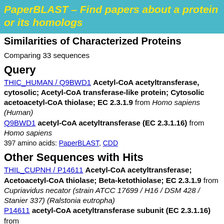PaperBLAST – Find papers about a protein or its homologs
Similarities of Characterized Proteins
Comparing 33 sequences
Query
THIC_HUMAN / Q9BWD1 Acetyl-CoA acetyltransferase, cytosolic; Acetyl-CoA transferase-like protein; Cytosolic acetoacetyl-CoA thiolase; EC 2.3.1.9 from Homo sapiens (Human)
Q9BWD1 acetyl-CoA acetyltransferase (EC 2.3.1.16) from Homo sapiens
397 amino acids: PaperBLAST, CDD
Other Sequences with Hits
THIL_CUPNH / P14611 Acetyl-CoA acetyltransferase; Acetoacetyl-CoA thiolase; Beta-ketothiolase; EC 2.3.1.9 from Cupriavidus necator (strain ATCC 17699 / H16 / DSM 428 / Stanier 337) (Ralstonia eutropha)
P14611 acetyl-CoA acetyltransferase subunit (EC 2.3.1.16) from